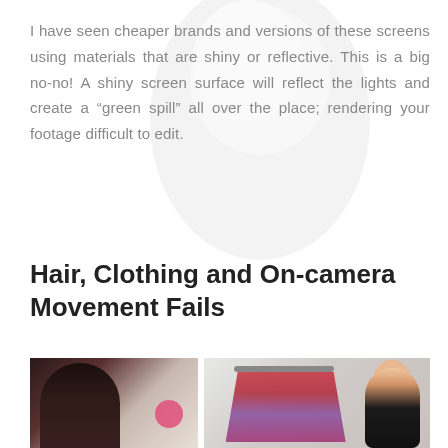I have seen cheaper brands and versions of these screens using materials that are shiny or reflective. This is a big no-no! A shiny screen surface will reflect the lights and create a “green spill” all over the place; rendering your footage difficult to edit.
Hair, Clothing and On-camera Movement Fails
[Figure (photo): Two photos side by side: left shows a woman with dark hair seen from behind holding something pink near her face; right shows a woman smiling in a black tank top standing near a clothing rack with colorful garments.]